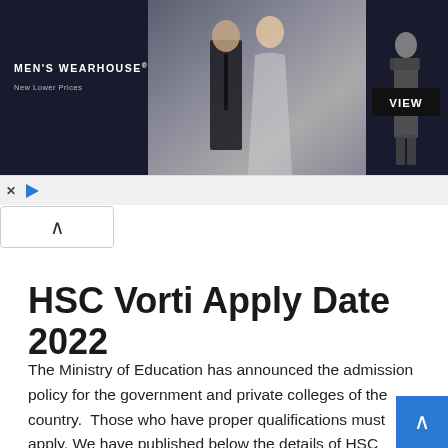[Figure (photo): Men's Wearhouse advertisement banner showing a couple in formal wear and a boy in a suit, with a VIEW button on a dark background]
HSC Vorti Apply Date 2022
The Ministry of Education has announced the admission policy for the government and private colleges of the country. Those who have proper qualifications must apply. We have published below the details of HSC Admission Application Date.